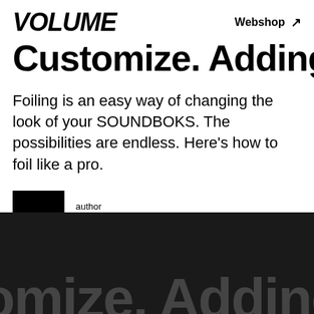VOLUME   Webshop ↗
Customize. Adding Foil
Foiling is an easy way of changing the look of your SOUNDBOKS. The possibilities are endless. Here's how to foil like a pro.
author SOUNDBOKS